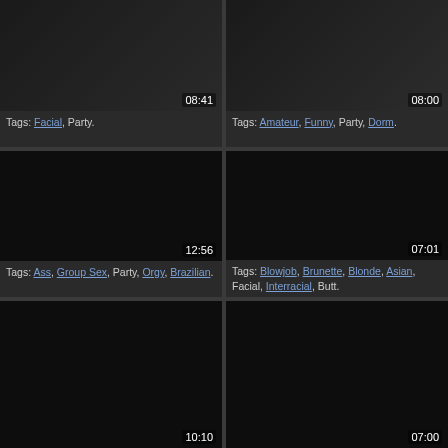[Figure (screenshot): Video thumbnail with timestamp 08:41]
Tags: Facial, Party.
[Figure (screenshot): Video thumbnail with timestamp 08:00]
Tags: Amateur, Funny, Party, Dorm.
[Figure (screenshot): Dark video thumbnail with timestamp 12:56]
Tags: Ass, Group Sex, Party, Orgy, Brazilian.
[Figure (screenshot): Dark video thumbnail with timestamp 07:01]
Tags: Blowjob, Brunette, Blonde, Asian, Facial, Interracial, Butt.
[Figure (screenshot): Dark video thumbnail with timestamp 10:10]
[Figure (screenshot): Dark video thumbnail with timestamp 07:00]